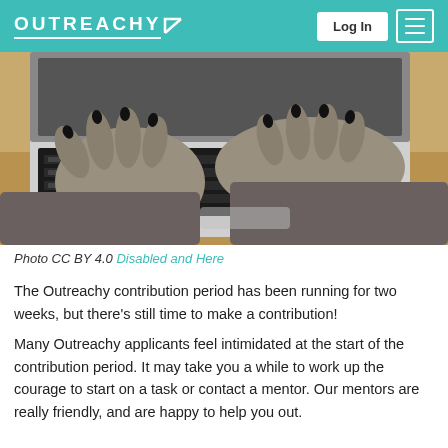OUTREACHY  Log In  [menu]
[Figure (photo): Close-up photo of hands wearing grey fingerless compression gloves with black nails typing on a laptop keyboard, on a wooden desk surface.]
Photo CC BY 4.0 Disabled and Here
The Outreachy contribution period has been running for two weeks, but there's still time to make a contribution!
Many Outreachy applicants feel intimidated at the start of the contribution period. It may take you a while to work up the courage to start on a task or contact a mentor. Our mentors are really friendly, and are happy to help you out.